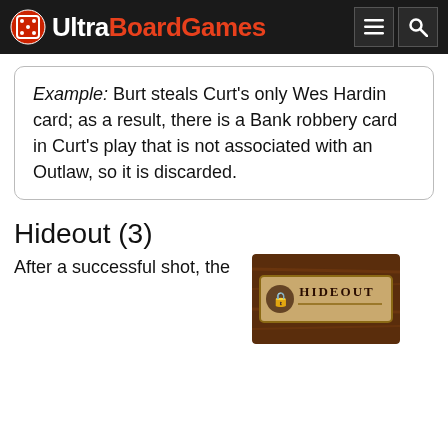UltraBoardGames
Example: Burt steals Curt's only Wes Hardin card; as a result, there is a Bank robbery card in Curt's play that is not associated with an Outlaw, so it is discarded.
Hideout (3)
After a successful shot, the
[Figure (photo): A game card labeled HIDEOUT with a wooden brown background and aged parchment style design.]